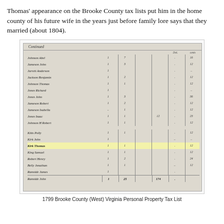Thomas' appearance on the Brooke County tax lists put him in the home county of his future wife in the years just before family lore says that they married (about 1804).
[Figure (photo): Scanned image of an old handwritten Brooke County (West) Virginia Personal Property Tax List ledger page. The page shows columns of handwritten names with numerical entries in columns. One row — 'Kirk Thomas' — is highlighted in yellow. Names visible include Johnson Abel, Jameson John, Jarrett Anderson, Jackson Benjamin, Johnson Thomas, Jones Richard, Jones John, Jameson Robert, Jameson Isabella, Jones Isaac, Johnson H Robert, Kitts Polly, Kirk John, Kirk Thomas (highlighted), King Samuel, Robert Henry, Belly Jonathan, Ramside James, Ramside John. The bottom of the page shows column totals: 25 and 174.]
1799 Brooke County (West) Virginia Personal Property Tax List